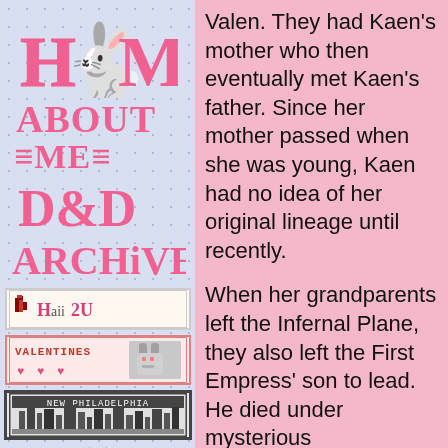HOME
ABOUT ME
D&D
Archive
[Figure (illustration): Haii2U badge with small pixel bird icon]
[Figure (illustration): Valentines badge with pixel bunny and hearts]
[Figure (illustration): New Philadelphia pixel city badge]
[Figure (illustration): Small palm tree or star icon at bottom of sidebar]
Valen. They had Kaen's mother who then eventually met Kaen's father. Since her mother passed when she was young, Kaen had no idea of her original lineage until recently.
When her grandparents left the Infernal Plane, they also left the First Empress' son to lead. He died under mysterious circumstances, and now his son is Emperor of the Infernal Plane. When the Archivers arrived in the Infernal Plane in search of one of the artifacts.